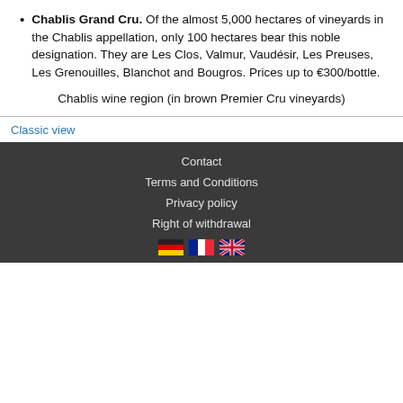Chablis Grand Cru. Of the almost 5,000 hectares of vineyards in the Chablis appellation, only 100 hectares bear this noble designation. They are Les Clos, Valmur, Vaudésir, Les Preuses, Les Grenouilles, Blanchot and Bougros. Prices up to €300/bottle.
Chablis wine region (in brown Premier Cru vineyards)
Classic view
Contact | Terms and Conditions | Privacy policy | Right of withdrawal